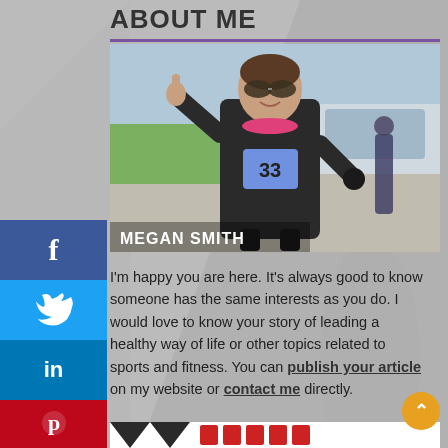ABOUT ME
[Figure (photo): Woman runner wearing bib number 33 and sunglasses giving thumbs up at a race. Text overlay reads 'Megan Smith'.]
I'm happy you are here. It's always good to know someone has the same interests as you do. I would love to know your story of leading a healthy way of life or other topics related to sports and fitness. You can publish your article on my website or contact me directly.
[Figure (logo): Partial banner/logo at bottom of page]